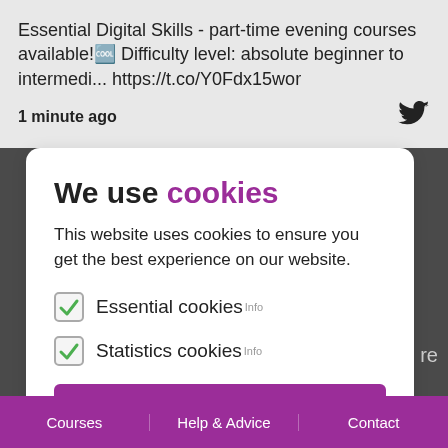Essential Digital Skills - part-time evening courses available! Difficulty level: absolute beginner to intermed... https://t.co/Y0Fdx15wor
1 minute ago
We use cookies
This website uses cookies to ensure you get the best experience on our website.
Essential cookies Info
Statistics cookies Info
Allow cookies
Courses | Help & Advice | Contact